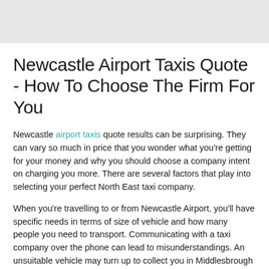Newcastle Airport Taxis Quote - How To Choose The Firm For You
Newcastle airport taxis quote results can be surprising. They can vary so much in price that you wonder what you're getting for your money and why you should choose a company intent on charging you more. There are several factors that play into selecting your perfect North East taxi company.
When you're travelling to or from Newcastle Airport, you'll have specific needs in terms of size of vehicle and how many people you need to transport. Communicating with a taxi company over the phone can lead to misunderstandings. An unsuitable vehicle may turn up to collect you in Middlesbrough or Darlington, giving you very little time to make alternative arrangements before your departure time. However, if you book an airport taxi online then